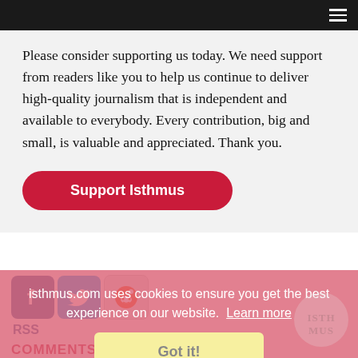Navigation bar with hamburger menu
Please consider supporting us today. We need support from readers like you to help us continue to deliver high-quality journalism that is independent and available to everybody. Every contribution, big and small, is valuable and appreciated. Thank you.
Support Isthmus
[Figure (logo): Social media icons: Facebook, Twitter, Reddit]
RSS
COMMENTS
Type subject here...
isthmus.com uses cookies to ensure you get the best experience on our website. Learn more
Got it!